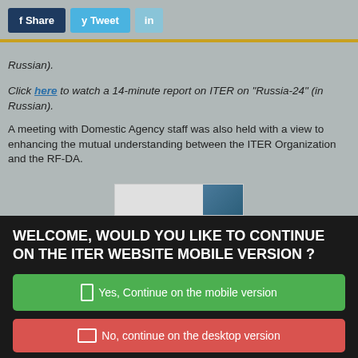f Share | y Tweet | in
Russian).
Click here to watch a 14-minute report on ITER on "Russia-24" (in Russian).
A meeting with Domestic Agency staff was also held with a view to enhancing the mutual understanding between the ITER Organization and the RF-DA.
[Figure (screenshot): Partial image preview visible at bottom of grey section]
WELCOME, WOULD YOU LIKE TO CONTINUE ON THE ITER WEBSITE MOBILE VERSION ?
Yes, Continue on the mobile version
No, continue on the desktop version